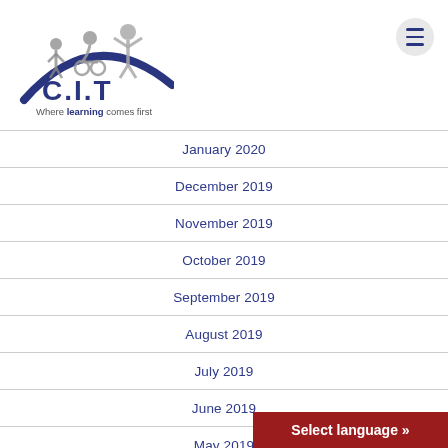[Figure (logo): C.I.T logo with tagline 'Where learning comes first', featuring stylized human figures over a blue arc]
January 2020
December 2019
November 2019
October 2019
September 2019
August 2019
July 2019
June 2019
May 2019
Select language »